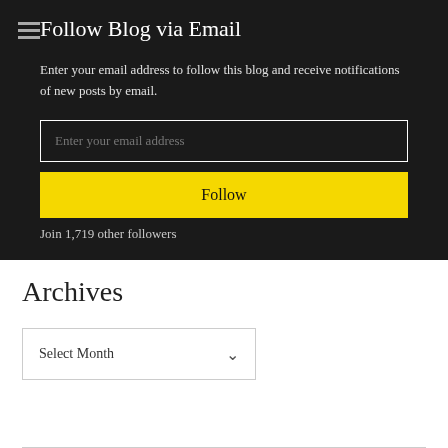Follow Blog via Email
Enter your email address to follow this blog and receive notifications of new posts by email.
Enter your email address
Follow
Join 1,719 other followers
Archives
Select Month